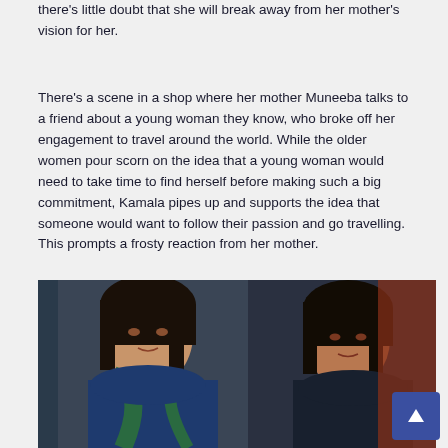there's little doubt that she will break away from her mother's vision for her.
There's a scene in a shop where her mother Muneeba talks to a friend about a young woman they know, who broke off her engagement to travel around the world. While the older women pour scorn on the idea that a young woman would need to take time to find herself before making such a big commitment, Kamala pipes up and supports the idea that someone would want to follow their passion and go travelling. This prompts a frosty reaction from her mother.
[Figure (photo): Two women with dark hair sitting in what appears to be a colourful shop with fabrics in the background. The woman on the left wears a blue outfit with a green scarf, and the woman on the right wears dark clothing.]